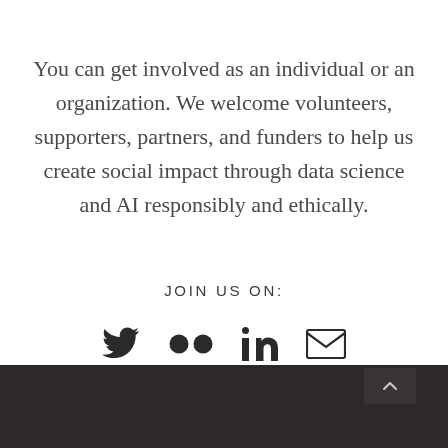You can get involved as an individual or an organization. We welcome volunteers, supporters, partners, and funders to help us create social impact through data science and AI responsibly and ethically.
JOIN US ON:
[Figure (illustration): Four social media icons in a row: Twitter bird icon, Flickr double-dot icon, LinkedIn 'in' icon, and email envelope icon]